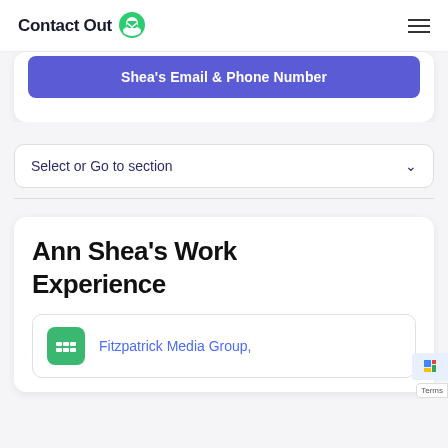ContactOut
Shea's Email & Phone Number
Select or Go to section
Ann Shea's Work Experience
Fitzpatrick Media Group,